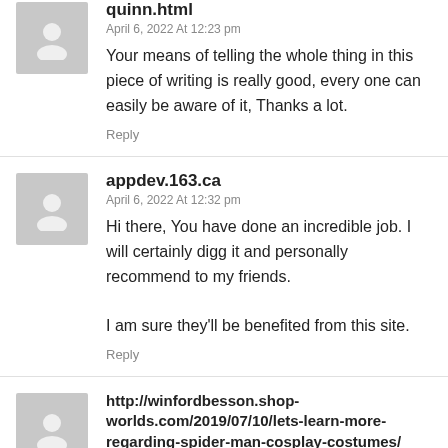quinn.html
April 6, 2022 At 12:23 pm
Your means of telling the whole thing in this piece of writing is really good, every one can easily be aware of it, Thanks a lot.
Reply
appdev.163.ca
April 6, 2022 At 12:32 pm
Hi there, You have done an incredible job. I will certainly digg it and personally recommend to my friends.

I am sure they'll be benefited from this site.
Reply
http://winfordbesson.shop-worlds.com/2019/07/10/lets-learn-more-regarding-spider-man-cosplay-costumes/